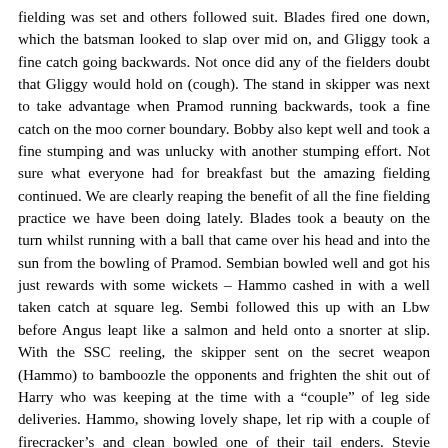fielding was set and others followed suit. Blades fired one down, which the batsman looked to slap over mid on, and Gliggy took a fine catch going backwards. Not once did any of the fielders doubt that Gliggy would hold on (cough). The stand in skipper was next to take advantage when Pramod running backwards, took a fine catch on the moo corner boundary. Bobby also kept well and took a fine stumping and was unlucky with another stumping effort. Not sure what everyone had for breakfast but the amazing fielding continued. We are clearly reaping the benefit of all the fine fielding practice we have been doing lately. Blades took a beauty on the turn whilst running with a ball that came over his head and into the sun from the bowling of Pramod. Sembian bowled well and got his just rewards with some wickets – Hammo cashed in with a well taken catch at square leg. Sembi followed this up with an Lbw before Angus leapt like a salmon and held onto a snorter at slip. With the SSC reeling, the skipper sent on the secret weapon (Hammo) to bamboozle the opponents and frighten the shit out of Harry who was keeping at the time with a "couple" of leg side deliveries. Hammo, showing lovely shape, let rip with a couple of firecracker's and clean bowled one of their tail enders. Stevie wrapped up procedures with a well flighted delivery, which hit the middle stump. SSC were all out for 106, after a stonking all round